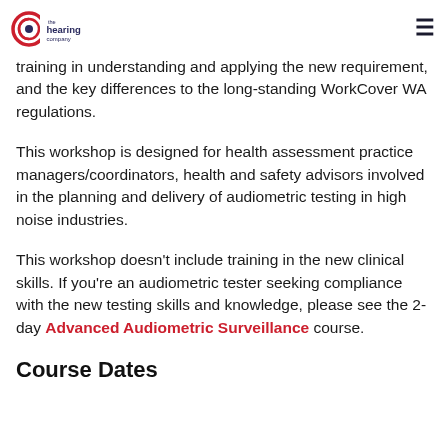the hearing company [logo] [hamburger menu]
training in understanding and applying the new requirement, and the key differences to the long-standing WorkCover WA regulations.
This workshop is designed for health assessment practice managers/coordinators, health and safety advisors involved in the planning and delivery of audiometric testing in high noise industries.
This workshop doesn't include training in the new clinical skills. If you're an audiometric tester seeking compliance with the new testing skills and knowledge, please see the 2-day Advanced Audiometric Surveillance course.
Course Dates